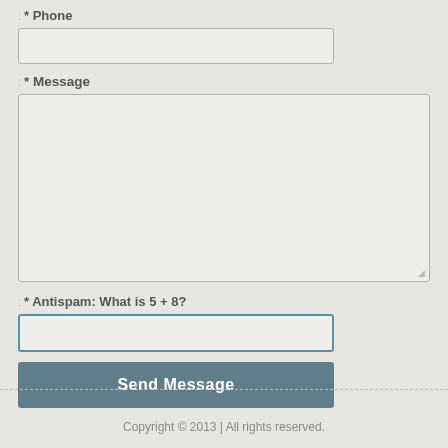* Phone
* Message
* Antispam: What is 5 + 8?
Send Message
Copyright © 2013 | All rights reserved.